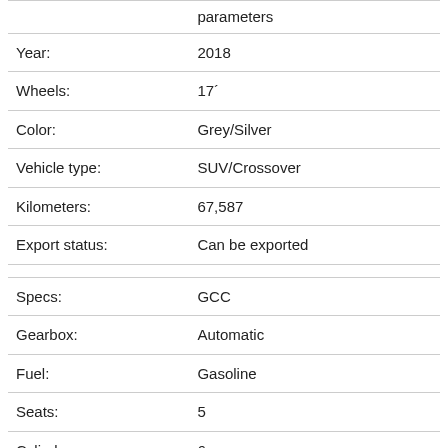|  | parameters |
| --- | --- |
| Year: | 2018 |
| Wheels: | 17´ |
| Color: | Grey/Silver |
| Vehicle type: | SUV/Crossover |
| Kilometers: | 67,587 |
| Export status: | Can be exported |
|  |  |
| Specs: | GCC |
| Gearbox: | Automatic |
| Fuel: | Gasoline |
| Seats: | 5 |
| Cylinders: | 6 |